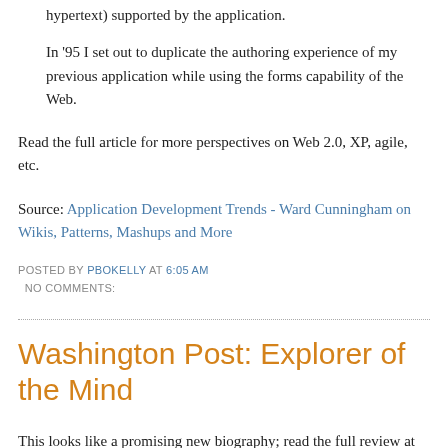hypertext) supported by the application.
In '95 I set out to duplicate the authoring experience of my previous application while using the forms capability of the Web.
Read the full article for more perspectives on Web 2.0, XP, agile, etc.
Source: Application Development Trends - Ward Cunningham on Wikis, Patterns, Mashups and More
POSTED BY PBOKELLY AT 6:05 AM
NO COMMENTS:
Washington Post: Explorer of the Mind
This looks like a promising new biography; read the full review at the source link below:
A voyager of the imagination, French novelist Jules Verne (1828-1905) found himself vexingly tethered to one genre. Driven by his publisher's commercial interests, he produced two or three books a year of scientific fantasy